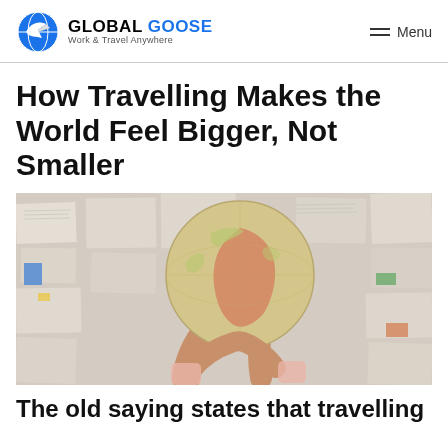GLOBAL GOOSE — Work & Travel Anywhere | Menu
How Travelling Makes the World Feel Bigger, Not Smaller
[Figure (photo): Person holding a globe in front of their face, with newspaper pages spread on the background wall]
The old saying states that travelling